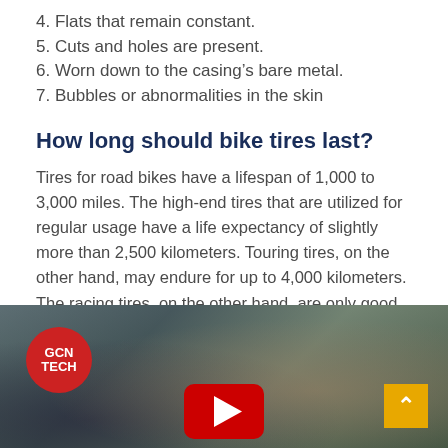4. Flats that remain constant.
5. Cuts and holes are present.
6. Worn down to the casing's bare metal.
7. Bubbles or abnormalities in the skin
How long should bike tires last?
Tires for road bikes have a lifespan of 1,000 to 3,000 miles. The high-end tires that are utilized for regular usage have a life expectancy of slightly more than 2,500 kilometers. Touring tires, on the other hand, may endure for up to 4,000 kilometers. The racing tires, on the other hand, are only good for a thousand kilometres.
[Figure (photo): A blurred photo of a cyclist with a GCN TECH badge in the top-left corner, a red YouTube play button at the bottom center, and an orange scroll-to-top arrow button in the bottom-right corner.]